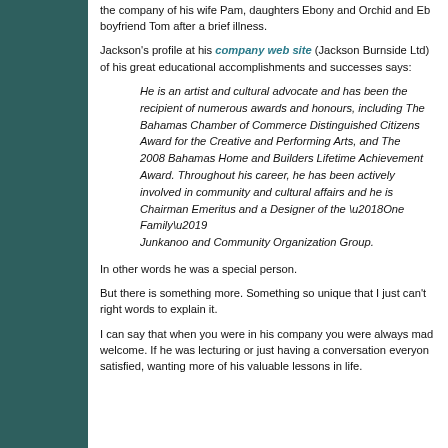...the company of his wife Pam, daughters Ebony and Orchid and Eb... boyfriend Tom after a brief illness.
Jackson's profile at his company web site (Jackson Burnside Ltd) of his great educational accomplishments and successes says:
He is an artist and cultural advocate and has been the recipient of numerous awards and honours, including The Bahamas Chamber of Commerce Distinguished Citizens Award for the Creative and Performing Arts, and The 2008 Bahamas Home and Builders Lifetime Achievement Award. Throughout his career, he has been actively involved in community and cultural affairs and he is Chairman Emeritus and a Designer of the ‘One Family’ Junkanoo and Community Organization Group.
In other words he was a special person.
But there is something more. Something so unique that I just can’t right words to explain it.
I can say that when you were in his company you were always mad welcome. If he was lecturing or just having a conversation everyon satisfied, wanting more of his valuable lessons in life.